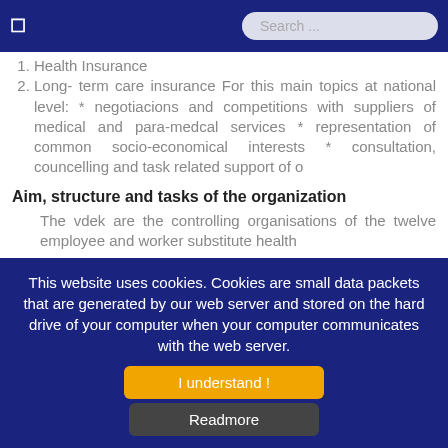Search ...
1. Health Insurance
2. Long- term care insurance For this main topics at national level: * negotiacions and competitions with suppliers of medical and para-medcal services * representation of common socio-economical interests * consultation, councelling and task related support of o
Aim, structure and tasks of the organization
The vdek are the controlling organisations of the twelve employee and worker substitute health
This website uses cookies. Cookies are small data packets that are generated by our web server and stored on the hard drive of your computer when your computer communicates with the web server.
I understand !
Readmore